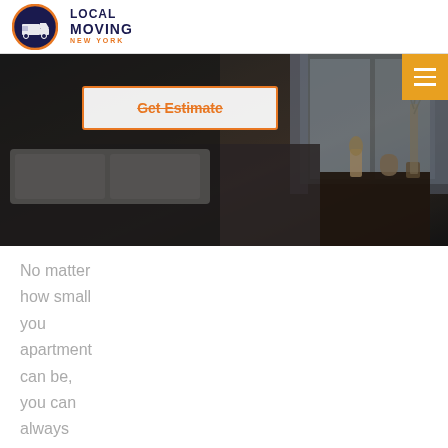[Figure (logo): Local Moving New York logo with truck icon in oval shape and orange/navy text]
[Figure (photo): Dark bedroom interior photo showing a bed with white linens, nightstand with items, and window in background]
Get Estimate
No matter how small you apartment can be, you can always make it cozy
Make sure your partner agrees with your